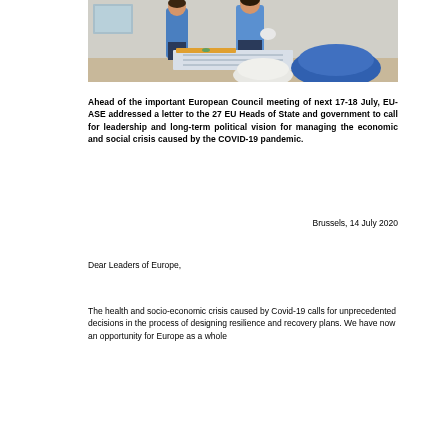[Figure (photo): Two construction workers in blue uniforms looking at blueprints on a table, with a hard hat visible in the foreground inside a building under construction.]
Ahead of the important European Council meeting of next 17-18 July, EU-ASE addressed a letter to the 27 EU Heads of State and government to call for leadership and long-term political vision for managing the economic and social crisis caused by the COVID-19 pandemic.
Brussels, 14 July 2020
Dear Leaders of Europe,
The health and socio-economic crisis caused by Covid-19 calls for unprecedented decisions in the process of designing resilience and recovery plans. We have now an opportunity for Europe as a whole